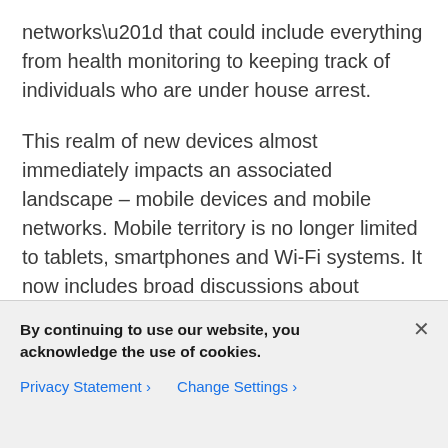networks” that could include everything from health monitoring to keeping track of individuals who are under house arrest.
This realm of new devices almost immediately impacts an associated landscape – mobile devices and mobile networks. Mobile territory is no longer limited to tablets, smartphones and Wi-Fi systems. It now includes broad discussions about closing that last mile to the vast array of IoT devices that are popping up in this country. Mobile networks that have been installed to handle this traffic can include a variety of small
By continuing to use our website, you acknowledge the use of cookies.
Privacy Statement ›   Change Settings ›